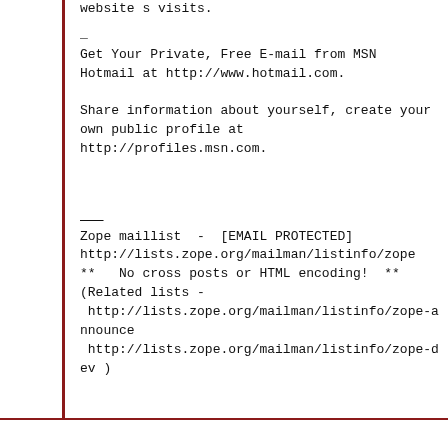website s visits.
_
Get Your Private, Free E-mail from MSN
Hotmail at http://www.hotmail.com.

Share information about yourself, create your
own public profile at
http://profiles.msn.com.
___
Zope maillist  -  [EMAIL PROTECTED]
http://lists.zope.org/mailman/listinfo/zope
**   No cross posts or HTML encoding!  **
(Related lists -
 http://lists.zope.org/mailman/listinfo/zope-announce
 http://lists.zope.org/mailman/listinfo/zope-dev )